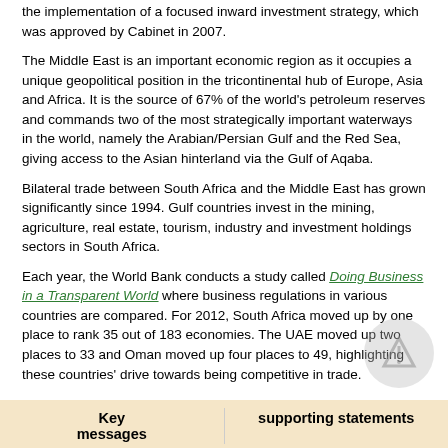the implementation of a focused inward investment strategy, which was approved by Cabinet in 2007.
The Middle East is an important economic region as it occupies a unique geopolitical position in the tricontinental hub of Europe, Asia and Africa. It is the source of 67% of the world's petroleum reserves and commands two of the most strategically important waterways in the world, namely the Arabian/Persian Gulf and the Red Sea, giving access to the Asian hinterland via the Gulf of Aqaba.
Bilateral trade between South Africa and the Middle East has grown significantly since 1994. Gulf countries invest in the mining, agriculture, real estate, tourism, industry and investment holdings sectors in South Africa.
Each year, the World Bank conducts a study called Doing Business in a Transparent World where business regulations in various countries are compared. For 2012, South Africa moved up by one place to rank 35 out of 183 economies. The UAE moved up two places to 33 and Oman moved up four places to 49, highlighting these countries' drive towards being competitive in trade.
| Key messages | supporting statements |
| --- | --- |